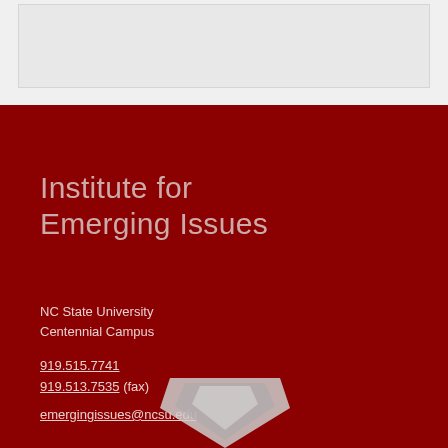[Figure (other): Gray header bar at top of page]
Institute for Emerging Issues
NC State University
Centennial Campus
919.515.7741
919.513.7535 (fax)
emergingissues@ncsu.edu
[Figure (logo): NC State University shield logo at bottom]